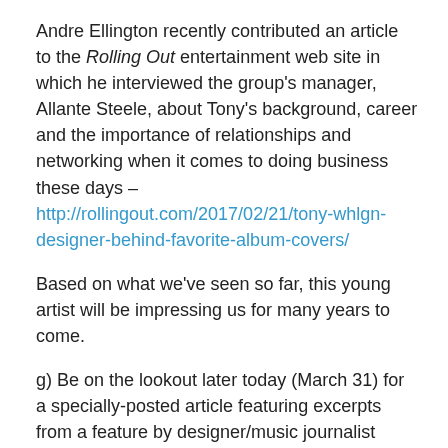Andre Ellington recently contributed an article to the Rolling Out entertainment web site in which he interviewed the group's manager, Allante Steele, about Tony's background, career and the importance of relationships and networking when it comes to doing business these days – http://rollingout.com/2017/02/21/tony-whlgn-designer-behind-favorite-album-covers/
Based on what we've seen so far, this young artist will be impressing us for many years to come.
g) Be on the lookout later today (March 31) for a specially-posted article featuring excerpts from a feature by designer/music journalist Andrew Dineley on the talented French design team of Pierre et Gilles. I'm very pleased to be able to share this with you, so check back soon.